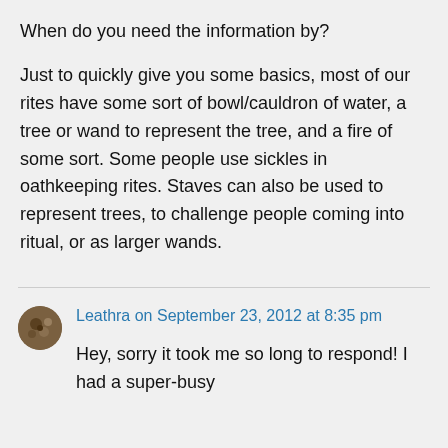When do you need the information by?
Just to quickly give you some basics, most of our rites have some sort of bowl/cauldron of water, a tree or wand to represent the tree, and a fire of some sort. Some people use sickles in oathkeeping rites. Staves can also be used to represent trees, to challenge people coming into ritual, or as larger wands.
Leathra on September 23, 2012 at 8:35 pm
Hey, sorry it took me so long to respond! I had a super-busy